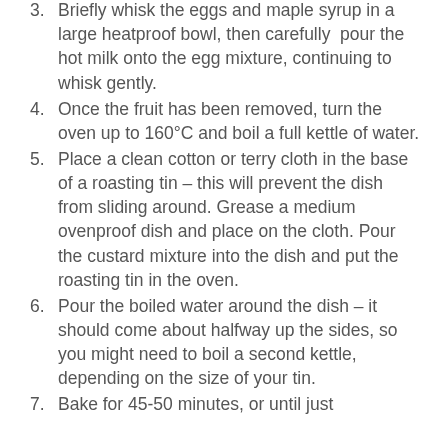(don't let it boil!). Remove from heat.
3. Briefly whisk the eggs and maple syrup in a large heatproof bowl, then carefully  pour the hot milk onto the egg mixture, continuing to whisk gently.
4. Once the fruit has been removed, turn the oven up to 160°C and boil a full kettle of water.
5. Place a clean cotton or terry cloth in the base of a roasting tin – this will prevent the dish from sliding around. Grease a medium ovenproof dish and place on the cloth. Pour the custard mixture into the dish and put the roasting tin in the oven.
6. Pour the boiled water around the dish – it should come about halfway up the sides, so you might need to boil a second kettle, depending on the size of your tin.
7. Bake for 45-50 minutes, or until just